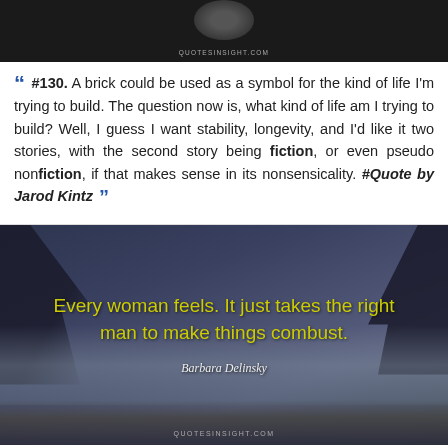[Figure (photo): Dark background with circular moon/portrait element at top center, website label QUOTESINSIGHT.COM below]
#130. A brick could be used as a symbol for the kind of life I'm trying to build. The question now is, what kind of life am I trying to build? Well, I guess I want stability, longevity, and I'd like it two stories, with the second story being fiction, or even pseudo nonfiction, if that makes sense in its nonsensicality. #Quote by Jarod Kintz
[Figure (photo): Scenic outdoor landscape photo with dark trees and mountains at dusk/night with yellow quote text overlay reading: Every woman feels. It just takes the right man to make things combust. Attribution: Barbara Delinsky. Website: QUOTESINSIGHT.COM at bottom.]